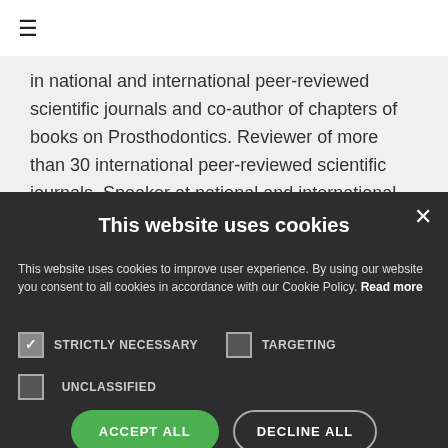≡
in national and international peer-reviewed scientific journals and co-author of chapters of books on Prosthodontics. Reviewer of more than 30 international peer-reviewed scientific journals. Speaker at national and international meetings. Past President of the Membership
This website uses cookies
This website uses cookies to improve user experience. By using our website you consent to all cookies in accordance with our Cookie Policy. Read more
STRICTLY NECESSARY
TARGETING
UNCLASSIFIED
ACCEPT ALL
DECLINE ALL
SHOW DETAILS